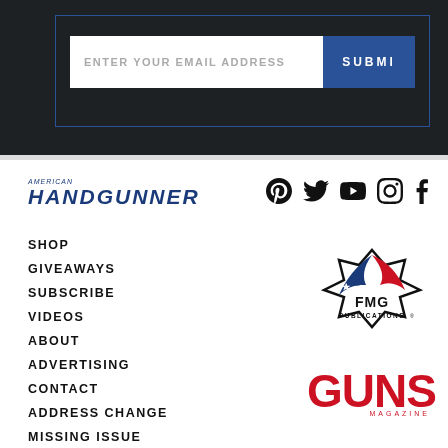[Figure (screenshot): Email subscription form with white input field labeled 'ENTER YOUR EMAIL ADDRESS' and a blue 'SUBMIT' button, inside a dark background container with blue border.]
[Figure (logo): American Handgunner magazine logo in blue bold italic text]
[Figure (infographic): Social media icons: Pinterest, Twitter, YouTube, Instagram, Facebook]
SHOP
GIVEAWAYS
SUBSCRIBE
VIDEOS
ABOUT
ADVERTISING
CONTACT
ADDRESS CHANGE
MISSING ISSUE
[Figure (logo): FMG Publications logo: star-shaped badge with American flag design and FMG PUBLICATIONS text]
[Figure (logo): GUNS Magazine logo in large red bold text with MAGAZINE subtitle]